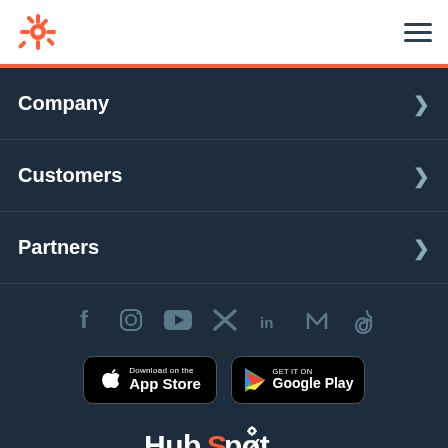[Figure (logo): HubSpot sprocket logo in orange, top left of white header]
[Figure (other): Hamburger menu icon (three horizontal lines), top right of white header]
Company
Customers
Partners
[Figure (other): Social media icons row: Facebook, Instagram, YouTube, Twitter, LinkedIn, Medalia (M), TikTok]
[Figure (other): App Store download button (black, Apple logo)]
[Figure (other): Google Play download button (black, Google Play logo)]
[Figure (logo): HubSpot wordmark logo in white at bottom center]